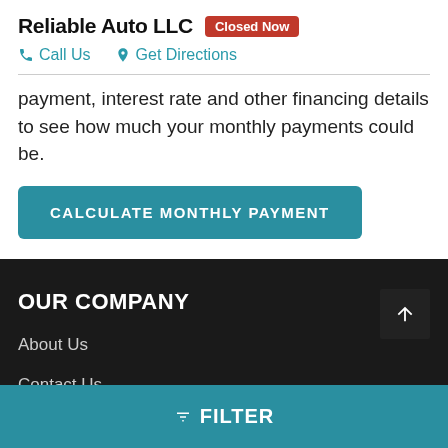Reliable Auto LLC
Closed Now
Call Us   Get Directions
payment, interest rate and other financing details to see how much your monthly payments could be.
CALCULATE MONTHLY PAYMENT
OUR COMPANY
About Us
Contact Us
▼ FILTER